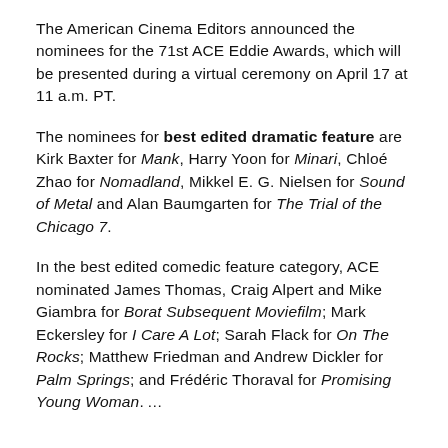The American Cinema Editors announced the nominees for the 71st ACE Eddie Awards, which will be presented during a virtual ceremony on April 17 at 11 a.m. PT.
The nominees for best edited dramatic feature are Kirk Baxter for Mank, Harry Yoon for Minari, Chloé Zhao for Nomadland, Mikkel E. G. Nielsen for Sound of Metal and Alan Baumgarten for The Trial of the Chicago 7.
In the best edited comedic feature category, ACE nominated James Thomas, Craig Alpert and Mike Giambra for Borat Subsequent Moviefilm; Mark Eckersley for I Care A Lot; Sarah Flack for On The Rocks; Matthew Friedman and Andrew Dickler for Palm Springs; and Frédéric Thoraval for Promising Young Woman. …